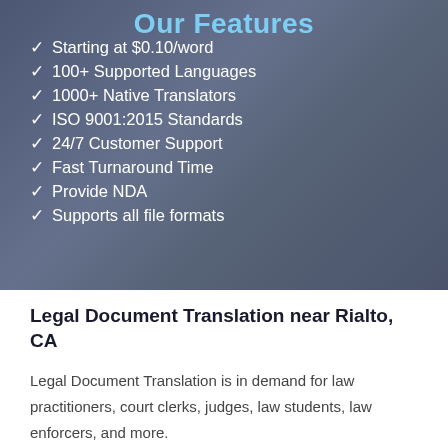[Figure (photo): Dark blue-tinted background photo of people in an office/classroom setting, overlaid with a semi-transparent dark blue overlay serving as banner background for the features list]
Our Features
Starting at $0.10/word
100+ Supported Languages
1000+ Native Translators
ISO 9001:2015 Standards
24/7 Customer Support
Fast Turnaround Time
Provide NDA
Supports all file formats
Legal Document Translation near Rialto, CA
Legal Document Translation is in demand for law practitioners, court clerks, judges, law students, law enforcers, and more.